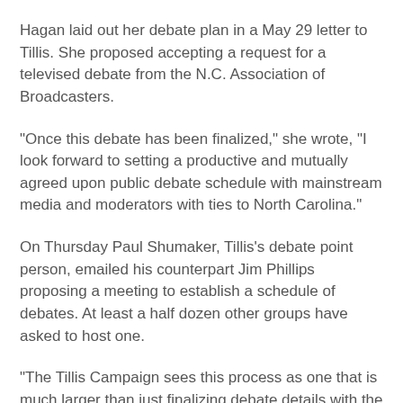Hagan laid out her debate plan in a May 29 letter to Tillis. She proposed accepting a request for a televised debate from the N.C. Association of Broadcasters.
"Once this debate has been finalized," she wrote, "I look forward to setting a productive and mutually agreed upon public debate schedule with mainstream media and moderators with ties to North Carolina."
On Thursday Paul Shumaker, Tillis’s debate point person, emailed his counterpart Jim Phillips proposing a meeting to establish a schedule of debates. At least a half dozen other groups have asked to host one.
"The Tillis Campaign sees this process as one that is much larger than just finalizing debate details with the N.C. Broadcasters Association," he wrote. "In fact I assumed that as a seasoned political veteran you would see the value of a planning process that finalized a complete debate schedule through an inclusive process with all the organizations rather than an exclusive process with just